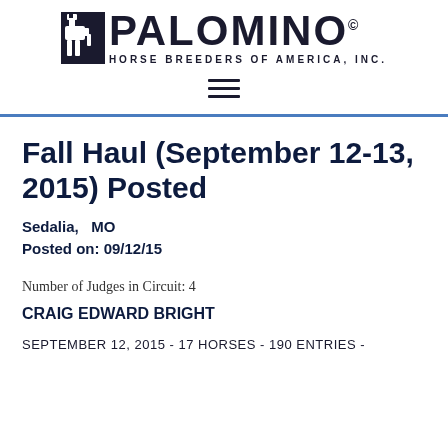[Figure (logo): Palomino Horse Breeders of America, Inc. logo with horse silhouette and bold text]
Fall Haul (September 12-13, 2015) Posted
Sedalia,   MO
Posted on: 09/12/15
Number of Judges in Circuit: 4
CRAIG EDWARD BRIGHT
SEPTEMBER 12, 2015 - 17 HORSES - 190 ENTRIES -